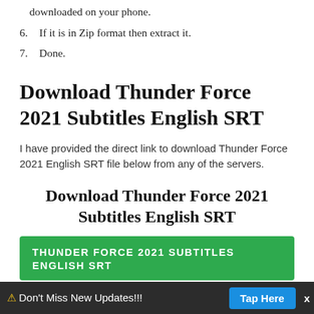downloaded on your phone.
6. If it is in Zip format then extract it.
7. Done.
Download Thunder Force 2021 Subtitles English SRT
I have provided the direct link to download Thunder Force 2021 English SRT file below from any of the servers.
Download Thunder Force 2021 Subtitles English SRT
THUNDER FORCE 2021 SUBTITLES ENGLISH SRT
⚠ Don't Miss New Updates!!!   Tap Here   x